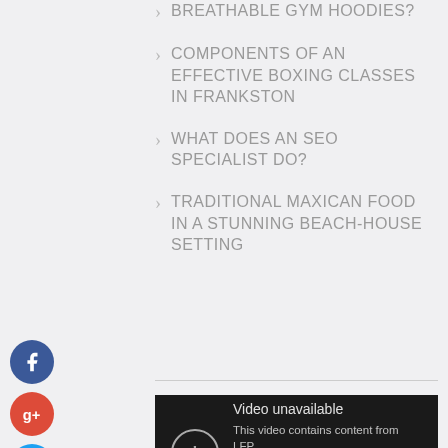BREATHABLE GYM HOODIES?
COMPONENTS OF AN EFFECTIVE BOXING CLASSES IN FRANKSTON
WHAT DOES AN SEO SPECIALIST DO?
TRADITIONAL MAXICAN FOOD IN A STUNNING BEACH-HOUSE SETTING
[Figure (screenshot): YouTube video unavailable message: 'This video contains content from LFP, who has blocked it from display on this website or application. Watch on YouTube']